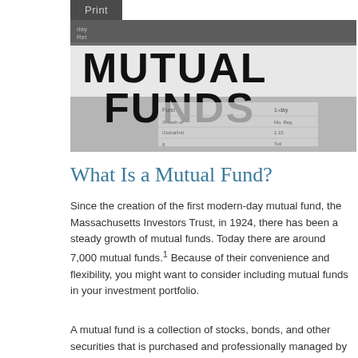Print
[Figure (photo): Newspaper close-up showing 'MUTUAL FUNDS' headline in large bold text with financial data tables visible below]
What Is a Mutual Fund?
Since the creation of the first modern-day mutual fund, the Massachusetts Investors Trust, in 1924, there has been a steady growth of mutual funds. Today there are around 7,000 mutual funds.¹ Because of their convenience and flexibility, you might want to consider including mutual funds in your investment portfolio.
A mutual fund is a collection of stocks, bonds, and other securities that is purchased and professionally managed by an investment company with the